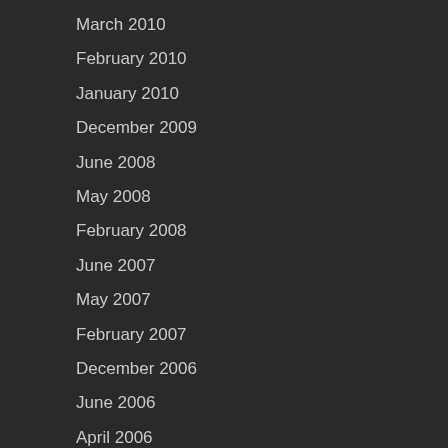March 2010
February 2010
January 2010
December 2009
June 2008
May 2008
February 2008
June 2007
May 2007
February 2007
December 2006
June 2006
April 2006
March 2006
January 2006